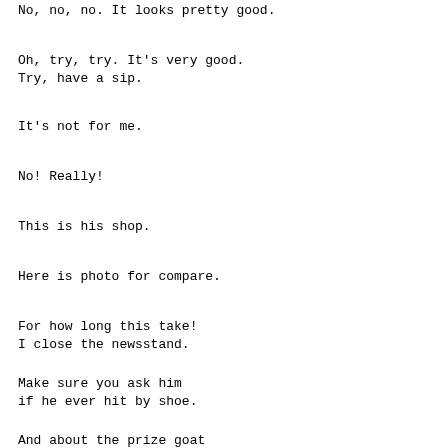No, no, no. It looks pretty good.
Oh, try, try. It's very good.
Try, have a sip.
It's not for me.
No! Really!
This is his shop.
Here is photo for compare.
For how long this take!
I close the newsstand.
Make sure you ask him
if he ever hit by shoe.
And about the prize goat
that can fetch a bowl of onion soup.